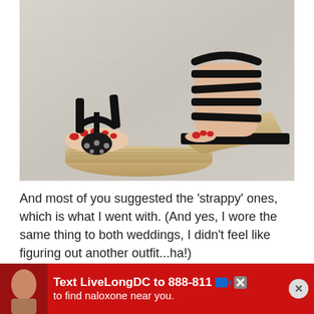[Figure (photo): Close-up photo of a person's feet wearing black strappy wedge sandals with espadrille soles and studded detail, standing on a light grey carpet.]
And most of you suggested the 'strappy' ones, which is what I went with. (And yes, I wore the same thing to both weddings, I didn't feel like figuring out another outfit...ha!)
[Figure (photo): Advertisement banner: red background with text 'Text LiveLongDC to 888-811 to find naloxone near you.' with logos and a close button.]